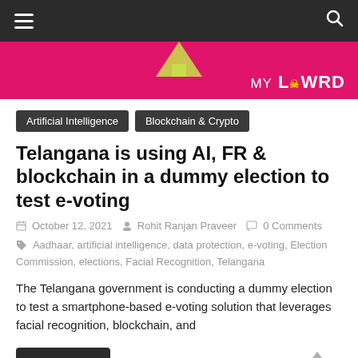MyLawrd navigation bar with hamburger menu and search icon
[Figure (logo): MyLawrd website banner with pink background and logo reading MY LAWRD]
Artificial Intelligence
Blockchain & Crypto
Telangana is using AI, FR & blockchain in a dummy election to test e-voting
October 12, 2021   Rohit Ranjan Praveer   0 Comments
Aadhaar, artificial intelligence, data protection, e-voting, Election Commission, elections, Facial Recognition, Telangana
The Telangana government is conducting a dummy election to test a smartphone-based e-voting solution that leverages facial recognition, blockchain, and
Read more